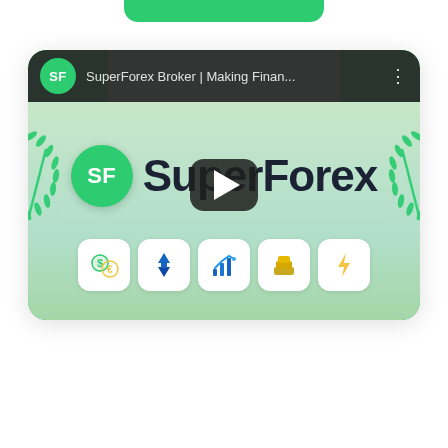[Figure (screenshot): SuperForex Broker YouTube video thumbnail preview embedded in a mobile app interface. The video player shows the SuperForex brand logo (SF in green circle) with the text 'SuperForex Broker | Making Finan...' in the YouTube-style top bar. The video content area features the SuperForex logo and brand name in large dark text flanked by green laurel wreaths, with a row of five feature icons below (currency exchange, trading arrows, chart, gold bars, lightning bolt). A play button overlay is centered on the video. A green rounded bar appears at the very top of the page.]